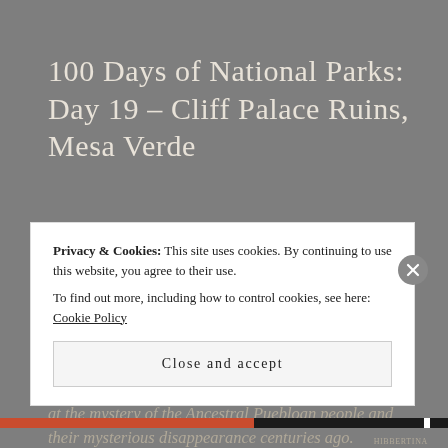100 Days of National Parks: Day 19 – Cliff Palace Ruins, Mesa Verde
Walking through the Cliff Palace in Mesa Verde National Park in southwest Colorado, it's impossible not to feel transported to a different era, and to marvel at the mystery of the Ancestral Puebloan people and their mysterious disappearance centuries ago.
Privacy & Cookies: This site uses cookies. By continuing to use this website, you agree to their use. To find out more, including how to control cookies, see here: Cookie Policy
Close and accept